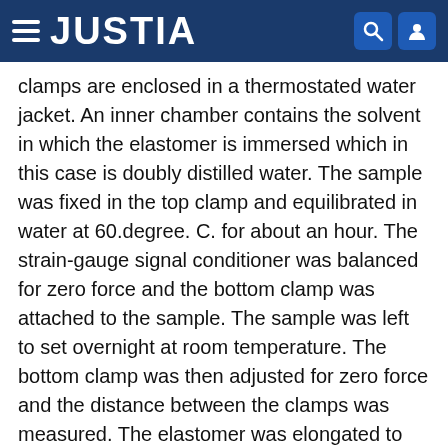JUSTIA
clamps are enclosed in a thermostated water jacket. An inner chamber contains the solvent in which the elastomer is immersed which in this case is doubly distilled water. The sample was fixed in the top clamp and equilibrated in water at 60.degree. C. for about an hour. The strain-gauge signal conditioner was balanced for zero force and the bottom clamp was attached to the sample. The sample was left to set overnight at room temperature. The bottom clamp was then adjusted for zero force and the distance between the clamps was measured. The elastomer was elongated to 40% extension at 5.degree. C. and elastomeric force was then determined as a function of temperature. Equilibrium time to achieve constant force at a given temperature was typically twenty-four hours. Force measurements were made in 2.degree. C. increments through the sharp rise in force and 5.degree. C. increments at higher